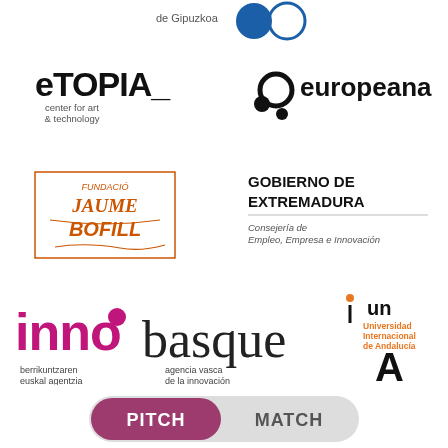[Figure (logo): Partial logos at top: 'de Gipuzkoa' text with two circular logos (one blue filled, one outline)]
[Figure (logo): eTOPIA_ center for art & technology logo]
[Figure (logo): europeana logo with stylized 'e' made of circles]
[Figure (logo): Fundació Jaume Bofill logo in orange/red handwritten style]
[Figure (logo): Gobierno de Extremadura - Consejería de Empleo, Empresa e Innovación logo]
[Figure (logo): innobasque - berrikuntzaren euskal agentzia / agencia vasca de la innovación logo in pink/magenta]
[Figure (logo): Universidad Internacional de Andalucía (UNIA) logo]
[Figure (logo): PITCH MATCH button/logo at bottom]